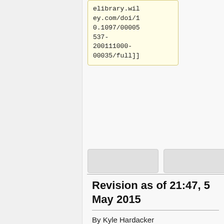elibrary.wiley.com/doi/10.1097/00005537-200111000-00035/full]]
[Figure (other): Two gray placeholder boxes side by side]
<br>
<u>Bacteria in the Auricle & Skin of External Auditory Meatus</u>
<br>
<u>Bacteria in the Auricle & Skin of External Auditory Meatus</u>
Revision as of 21:47, 5 May 2015
By Kyle Hardacker